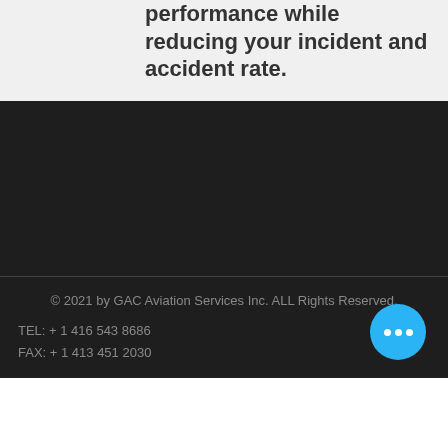improve your operational performance while reducing your incident and accident rate.
[Figure (other): Dark background image/video area on the page]
© 2021 by GAC Aviation Services Inc.  ALL Rights Reserved.
TEL: + 1 416 543 8686
FAX: + 1 413 451 2030